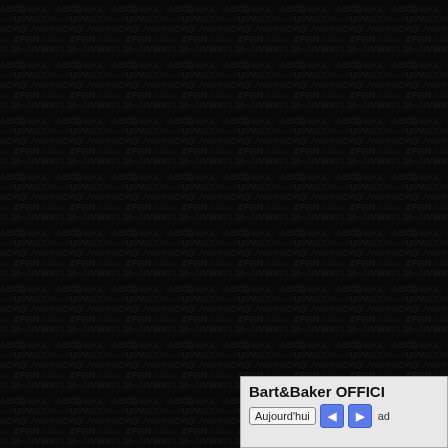[Figure (screenshot): Dark textured background with embossed/debossed pattern of repeated text or characters, nearly black.]
Bart&Baker OFFICI
Aujourd'hui  ◄  ►  ad